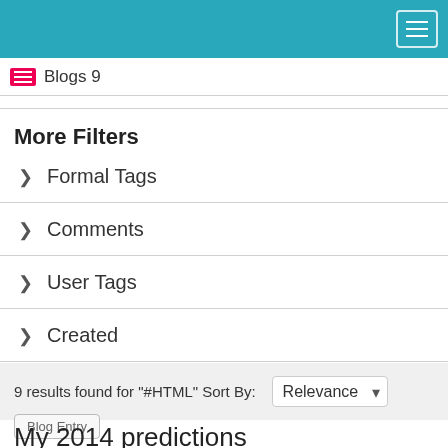[Figure (screenshot): Teal navigation header bar with hamburger menu button in top right corner]
Blogs 9
More Filters
> Formal Tags
> Comments
> User Tags
> Created
9 results found for "#HTML" Sort By: Relevance
Blog Entry
My 2014 predictions